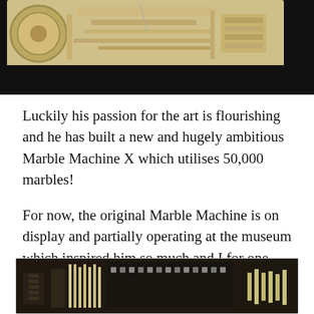[Figure (photo): Top portion of a mechanical marble machine with cream/beige colored metal parts and gears on a black background, with a dark black band at the bottom of the image]
Luckily his passion for the art is flourishing and he has built a new and hugely ambitious Marble Machine X which utilises 50,000 marbles!
For now, the original Marble Machine is on display and partially operating at the museum which inspired him so much and I for one look forward to visiting Utrecht in the future to see it in person!
[Figure (photo): Bottom portion showing the Marble Machine X with dark metallic components, springs, and mechanical parts]